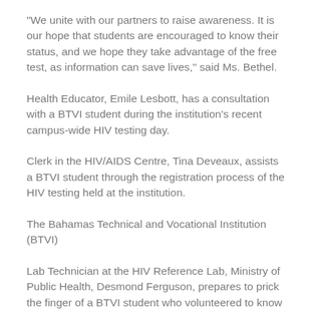“We unite with our partners to raise awareness. It is our hope that students are encouraged to know their status, and we hope they take advantage of the free test, as information can save lives,” said Ms. Bethel.
Health Educator, Emile Lesbott, has a consultation with a BTVI student during the institution’s recent campus-wide HIV testing day.
Clerk in the HIV/AIDS Centre, Tina Deveaux, assists a BTVI student through the registration process of the HIV testing held at the institution.
The Bahamas Technical and Vocational Institution (BTVI)
Lab Technician at the HIV Reference Lab, Ministry of Public Health, Desmond Ferguson, prepares to prick the finger of a BTVI student who volunteered to know his HIV